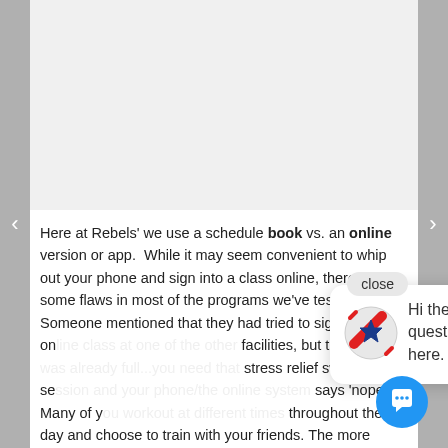Here at Rebels' we use a schedule book vs. an online version or app.  While it may seem convenient to whip out your phone and sign into a class online, there are some flaws in most of the programs we've tested out.  Someone mentioned that they had tried to sign into an online class at one of the other facilities, but the class was already full...you need that stress relief sweat session and your phone/the online system says 'nope.' Many of you workout at different times throughout the day and choose to train with your friends.  The more common apps won't let you see who else is signed into a class. There are so many things 'not ideal' with the online scheduling options we've seen...we just aren't ready to make that change.
[Figure (other): Chat widget popup with Rebels logo and message 'Hi there, have a question? Text us here.' with a close button and blue chat icon button.]